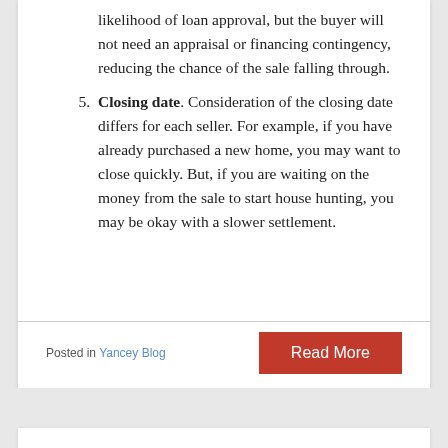likelihood of loan approval, but the buyer will not need an appraisal or financing contingency, reducing the chance of the sale falling through.
5. Closing date. Consideration of the closing date differs for each seller. For example, if you have already purchased a new home, you may want to close quickly. But, if you are waiting on the money from the sale to start house hunting, you may be okay with a slower settlement.
Posted in Yancey Blog